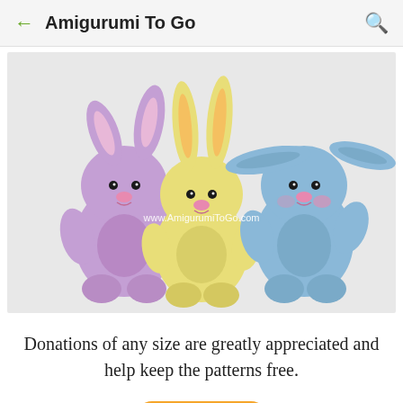Amigurumi To Go
[Figure (photo): Three crocheted amigurumi bunnies side by side: a purple bunny on the left, a yellow bunny in the center, and a blue bunny on the right. Each has long ears, small black bead eyes, and a pink nose/mouth. Watermark reads www.AmigurumiToGo.com]
Donations of any size are greatly appreciated and help keep the patterns free.